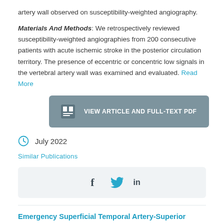artery wall observed on susceptibility-weighted angiography.

Materials And Methods: We retrospectively reviewed susceptibility-weighted angiographies from 200 consecutive patients with acute ischemic stroke in the posterior circulation territory. The presence of eccentric or concentric low signals in the vertebral artery wall was examined and evaluated. Read More
VIEW ARTICLE AND FULL-TEXT PDF
July 2022
Similar Publications
[Figure (infographic): Social media share icons: Facebook (f), Twitter (bird), LinkedIn (in)]
Emergency Superficial Temporal Artery-Superior